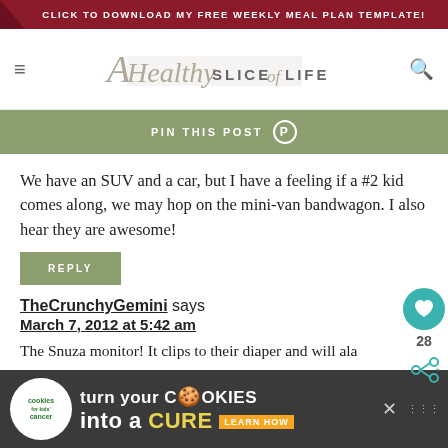CLICK TO DOWNLOAD MY FREE WEEKLY MEAL PLAN TEMPLATE!
[Figure (logo): A Healthy Slice of Life blog logo with script and sans-serif text]
PIN THIS POST
We have an SUV and a car, but I have a feeling if a #2 kid comes along, we may hop on the mini-van bandwagon. I also hear they are awesome!
REPLY
TheCrunchyGemini says
March 7, 2012 at 5:42 am
The Snuza monitor! It clips to their diaper and will ala
[Figure (other): Advertisement banner: Cookies for Kids Cancer - turn your cookies into a CURE]